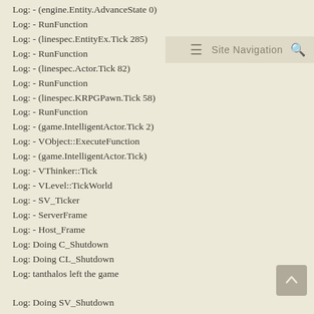Log: - (engine.Entity.AdvanceState 0)
Log: - RunFunction
Log: - (linespec.EntityEx.Tick 285)
Log: - RunFunction
Log: - (linespec.Actor.Tick 82)
Log: - RunFunction
Log: - (linespec.KRPGPawn.Tick 58)
Log: - RunFunction
Log: - (game.IntelligentActor.Tick 2)
Log: - VObject::ExecuteFunction
Log: - (game.IntelligentActor.Tick)
Log: - VThinker::Tick
Log: - VLevel::TickWorld
Log: - SV_Ticker
Log: - ServerFrame
Log: - Host_Frame
Log: Doing C_Shutdown
Log: Doing CL_Shutdown
Log: tanthalos left the game

Log: Doing SV_Shutdown
Log: Doing delete GNet
Log: Doing delete GInput
Log: Doing V_Shutdown
Log: Doing delete GAudio
Log: Doing T_Shutdown
Log: Doing Sys_Shutdown
Log: Doing delete GSoundManager
Log: Doing R_ShutdownTexture
Log: Doing R_ShutdownData
Log: Doing VCommand::Shutdown
Log: Doing VCvar::Shutdown
Log: Doing Shutdown MainFunc...